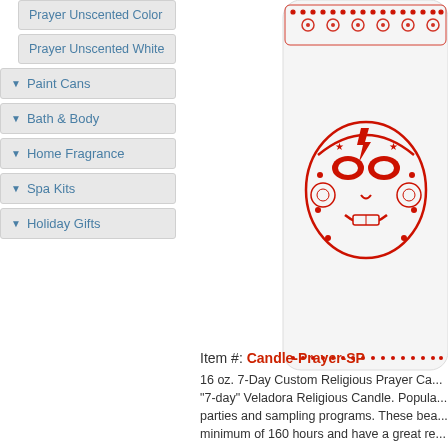Prayer Unscented Color
Prayer Unscented White
▼ Paint Cans
▼ Bath & Body
▼ Home Fragrance
▼ Spa Kits
▼ Holiday Gifts
[Figure (photo): White cylindrical 16 oz prayer candle with red Lucha Libre wrestler mask design printed on it]
Item #: Candle-Prayer-SP
16 oz. 7-Day Custom Religious Prayer Ca... "7-day" Veladora Religious Candle. Popula... parties and sampling programs. These bea... minimum of 160 hours and have a great re... logo in a 1-color screen print, or 4-color lab...